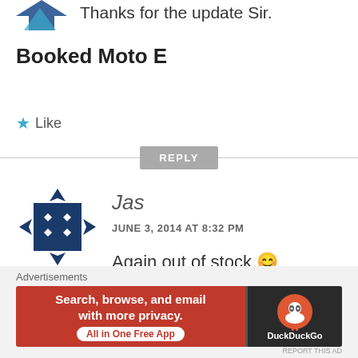[Figure (logo): Partial blue arrow/logo icon at top left]
Thanks for the update Sir.
Booked Moto E
★ Like
REPLY
[Figure (illustration): Dark blue avatar icon with diamond pattern for user Jas]
Jas
JUNE 3, 2014 AT 8:32 PM
Again out of stock 🙂
★ Like
Advertisements
[Figure (screenshot): DuckDuckGo advertisement banner: Search, browse, and email with more privacy. All in One Free App]